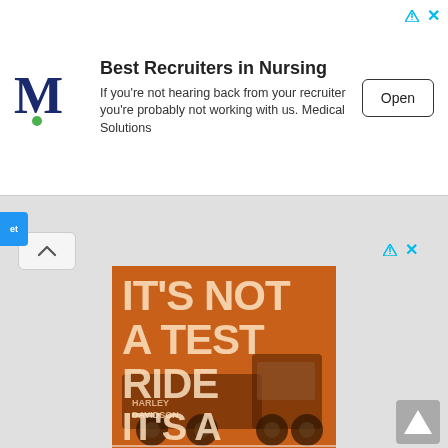[Figure (screenshot): Top banner ad for Medical Solutions nursing recruiter with M logo, headline 'Best Recruiters in Nursing', subtext about recruiters, and Open button]
Best Recruiters in Nursing
If you're not hearing back from your recruiter you're probably not working with us. Medical Solutions
[Figure (photo): Orange Harley-Davidson advertisement with overlaid semi-truck image and text 'IT'S NOT A TEST RIDE IT'S A TEST FLEET']
[Figure (logo): John Elway Harley-Davidson logo with Motor Harley-Davidson Cycles badge and bold 'JOHN ELWAY HARLEY-DAVIDSON' text]